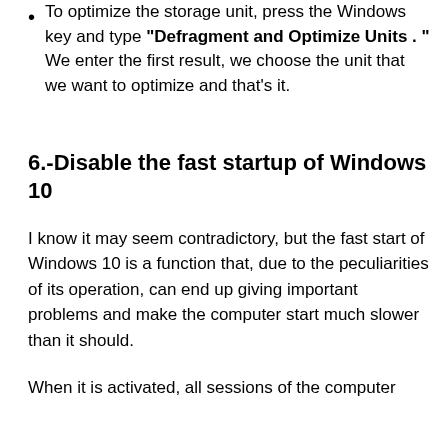To optimize the storage unit, press the Windows key and type "Defragment and Optimize Units . " We enter the first result, we choose the unit that we want to optimize and that's it.
6.-Disable the fast startup of Windows 10
I know it may seem contradictory, but the fast start of Windows 10 is a function that, due to the peculiarities of its operation, can end up giving important problems and make the computer start much slower than it should.
When it is activated, all sessions of the computer